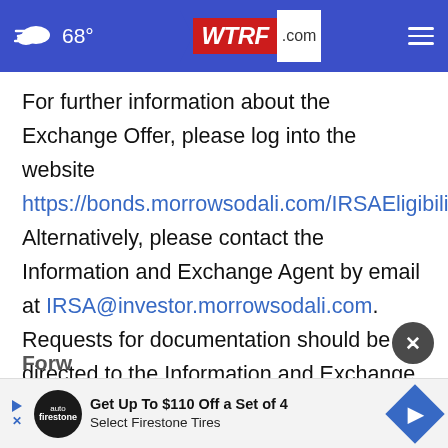68° WTRF.com
For further information about the Exchange Offer, please log into the website https://bonds.morrowsodali.com/IRSAEligibility. Alternatively, please contact the Information and Exchange Agent by email at IRSA@investor.morrowsodali.com. Requests for documentation should be directed to the Information and Exchange Agent.
Forw
[Figure (screenshot): Advertisement banner: Get Up To $110 Off a Set of 4 Select Firestone Tires with Firestone Auto logo and directional sign icon]